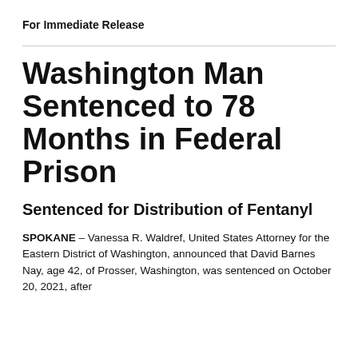For Immediate Release
Washington Man Sentenced to 78 Months in Federal Prison
Sentenced for Distribution of Fentanyl
SPOKANE – Vanessa R. Waldref, United States Attorney for the Eastern District of Washington, announced that David Barnes Nay, age 42, of Prosser, Washington, was sentenced on October 20, 2021, after